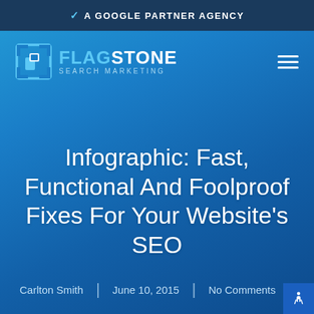✓ A GOOGLE PARTNER AGENCY
[Figure (logo): Flagstone Search Marketing logo with square bracket icon, text FLAG STONE SEARCH MARKETING in white and blue]
Infographic: Fast, Functional And Foolproof Fixes For Your Website's SEO
Carlton Smith | June 10, 2015 | No Comments